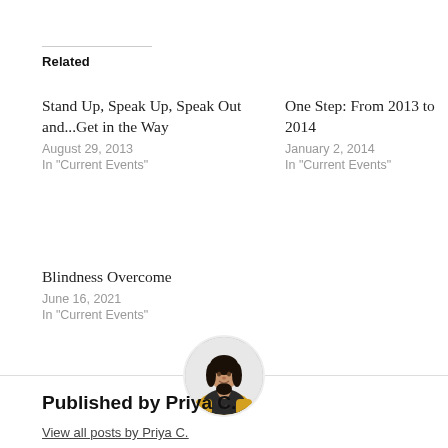Related
Stand Up, Speak Up, Speak Out and...Get in the Way
August 29, 2013
In "Current Events"
One Step: From 2013 to 2014
January 2, 2014
In "Current Events"
Blindness Overcome
June 16, 2021
In "Current Events"
[Figure (photo): Circular avatar photo of Priya C., a woman with dark hair wearing a yellow and dark floral outfit, against a light background]
Published by Priya C.
View all posts by Priya C.